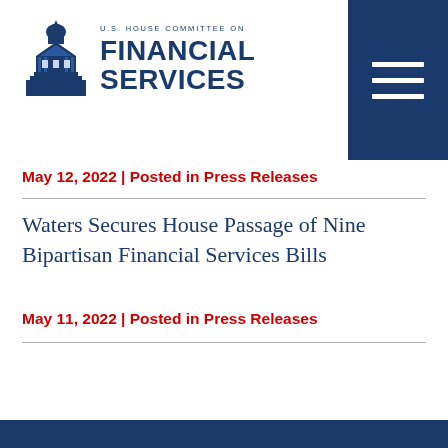[Figure (logo): U.S. House Committee on Financial Services logo with capitol building icon and text]
May 12, 2022 | Posted in Press Releases
Waters Secures House Passage of Nine Bipartisan Financial Services Bills
May 11, 2022 | Posted in Press Releases